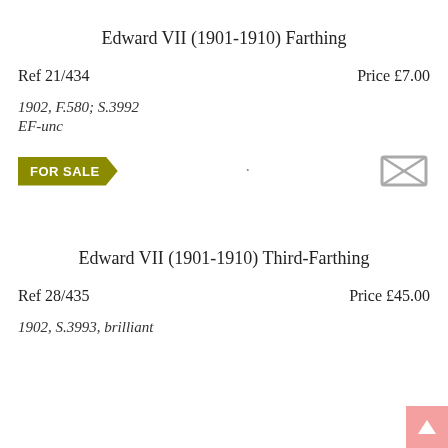Edward VII (1901-1910) Farthing
Ref 21/434	Price £7.00
1902, F.580; S.3992
EF-unc
[Figure (other): FOR SALE arrow badge in olive/dark yellow color, and an envelope icon on the right]
Edward VII (1901-1910) Third-Farthing
Ref 28/435	Price £45.00
1902, S.3993, brilliant